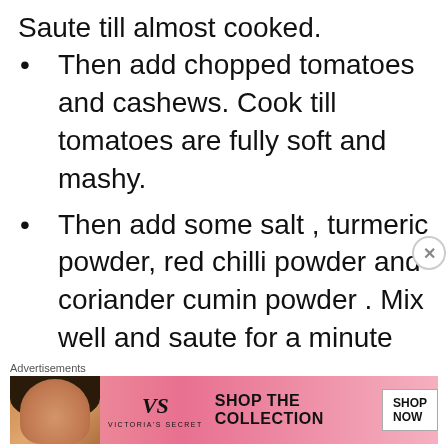Saute till almost cooked.
Then add chopped tomatoes and cashews. Cook till tomatoes are fully soft and mashy.
Then add some salt , turmeric powder, red chilli powder and coriander cumin powder . Mix well and saute for a minute
Advertisements
[Figure (other): Victoria's Secret advertisement banner with a model, VS logo, SHOP THE COLLECTION text, and SHOP NOW button]